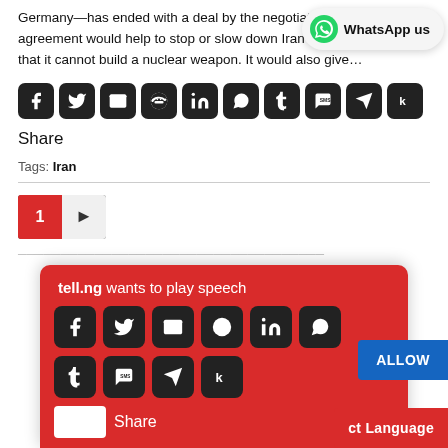Germany—has ended with a deal by the negotiators. The new agreement would help to stop or slow down Iran's activities to ensure that it cannot build a nuclear weapon. It would also give…
[Figure (screenshot): Row of social share icon buttons (Facebook, Twitter, Email, Reddit, LinkedIn, WhatsApp, Tumblr, SMS, Telegram, Kooapp) on dark rounded square backgrounds]
Share
Tags: Iran
[Figure (screenshot): Pagination control showing page 1 (red) and a next arrow button on dark grey background]
truncated article navigation text
[Figure (screenshot): Browser speech permission dialog overlay: 'tell.ng wants to play speech' with share icons on dark red background, ALLOW button in blue, Select Language button in red]